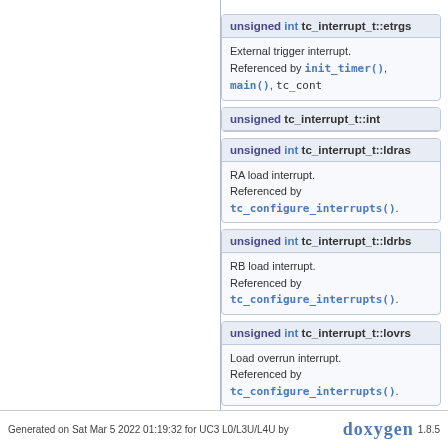unsigned int tc_interrupt_t::etrgs
External trigger interrupt. Referenced by init_timer(), main(), tc_cont...
unsigned tc_interrupt_t::int
unsigned int tc_interrupt_t::ldras
RA load interrupt. Referenced by tc_configure_interrupts().
unsigned int tc_interrupt_t::ldrbs
RB load interrupt. Referenced by tc_configure_interrupts().
unsigned int tc_interrupt_t::lovrs
Load overrun interrupt. Referenced by tc_configure_interrupts().
Generated on Sat Mar 5 2022 01:19:32 for UC3 L0/L3U/L4U by doxygen 1.8.5